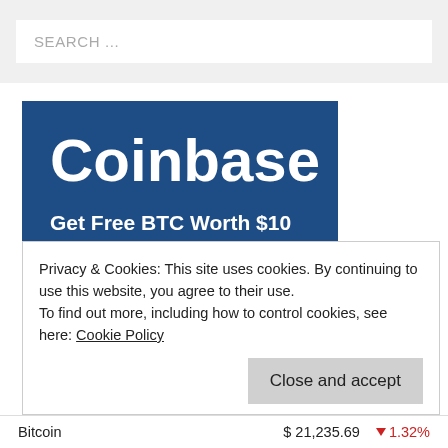SEARCH ...
[Figure (infographic): Coinbase advertisement banner with dark blue background. Large white bold text reads 'Coinbase'. Below: 'Get Free BTC Worth $10'. Below: 'Click here !']
Privacy & Cookies: This site uses cookies. By continuing to use this website, you agree to their use.
To find out more, including how to control cookies, see here: Cookie Policy
Close and accept
Bitcoin  $ 21,235.69  ▼ 1.32%